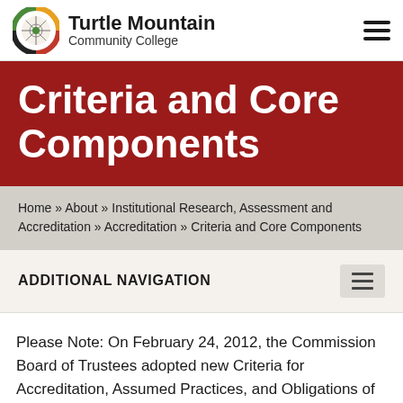Turtle Mountain Community College
Criteria and Core Components
Home » About » Institutional Research, Assessment and Accreditation » Accreditation » Criteria and Core Components
ADDITIONAL NAVIGATION
Please Note: On February 24, 2012, the Commission Board of Trustees adopted new Criteria for Accreditation, Assumed Practices, and Obligations of Affiliation. The final versions appear below. They are effective for all